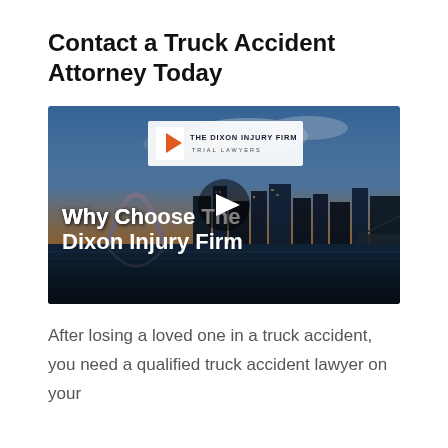Contact a Truck Accident Attorney Today
[Figure (screenshot): Video thumbnail showing St. Louis Gateway Arch cityscape at dusk with The Dixon Injury Firm logo and text 'Why Choose The Dixon Injury Firm' with a play button overlay]
After losing a loved one in a truck accident, you need a qualified truck accident lawyer on your